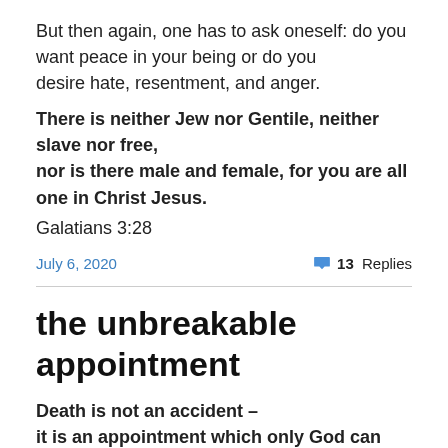But then again, one has to ask oneself: do you want peace in your being or do you desire hate, resentment, and anger.
There is neither Jew nor Gentile, neither slave nor free, nor is there male and female, for you are all one in Christ Jesus.
Galatians 3:28
July 6, 2020
13 Replies
the unbreakable appointment
Death is not an accident – it is an appointment which only God can change or